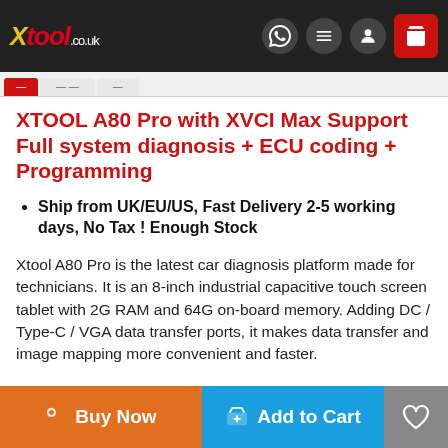XTOOL.co.uk — navigation bar with logo, WhatsApp, menu, account, and cart icons
XTOOL A80 Pro with XVCI Max Support Full system diagnosis + ECU coding + Programming
Ship from UK/EU/US, Fast Delivery 2-5 working days, No Tax ! Enough Stock
Xtool A80 Pro is the latest car diagnosis platform made for technicians. It is an 8-inch industrial capacitive touch screen tablet with 2G RAM and 64G on-board memory. Adding DC / Type-C / VGA data transfer ports, it makes data transfer and image mapping more convenient and faster.
Buy Now | Add to Cart | Wishlist